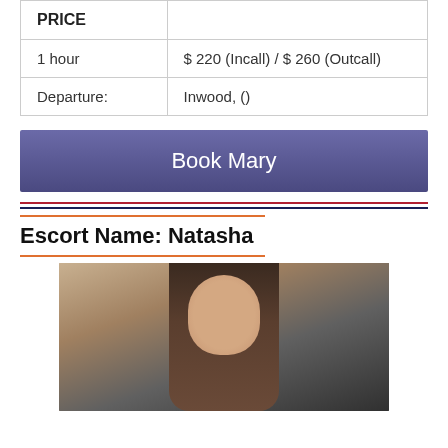| PRICE |  |
| --- | --- |
| 1 hour | $ 220 (Incall) / $ 260 (Outcall) |
| Departure: | Inwood, () |
Book Mary
Escort Name: Natasha
[Figure (photo): Portrait photo of a young woman with long straight brunette hair, dark eye makeup, looking at camera, indoor background]